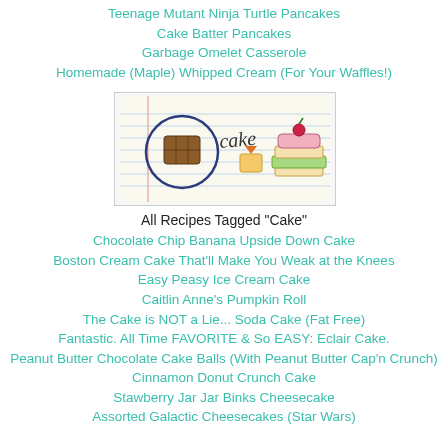Teenage Mutant Ninja Turtle Pancakes
Cake Batter Pancakes
Garbage Omelet Casserole
Homemade (Maple) Whipped Cream (For Your Waffles!)
[Figure (illustration): Hand-drawn notebook-style illustration showing a circled chocolate bar, the word 'cake' in handwriting, a small carrot/box, and a layered cake with cherry on top, on lined paper background]
All Recipes Tagged "Cake"
Chocolate Chip Banana Upside Down Cake
Boston Cream Cake That'll Make You Weak at the Knees
Easy Peasy Ice Cream Cake
Caitlin Anne's Pumpkin Roll
The Cake is NOT a Lie... Soda Cake (Fat Free)
Fantastic. All Time FAVORITE & So EASY: Eclair Cake.
Peanut Butter Chocolate Cake Balls (With Peanut Butter Cap'n Crunch)
Cinnamon Donut Crunch Cake
Stawberry Jar Jar Binks Cheesecake
Assorted Galactic Cheesecakes (Star Wars)